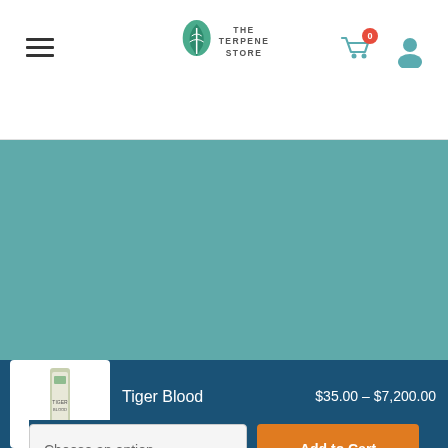[Figure (screenshot): Website header with hamburger menu, The Terpene Store logo, shopping cart with badge showing 0, and user account icon]
[Figure (screenshot): Teal footer section with phone number 855 (TERPENE) 837-7363, email INFO@THETERPENESTORE.COM, social media icons for Facebook, Instagram, LinkedIn, accessibility button, scroll-to-top button, and chat bubble]
855 (TERPENE) 837-7363
INFO@THETERPENESTORE.COM
[Figure (screenshot): Product sticky bar at bottom showing Tiger Blood product thumbnail, name, price range $35.00 – $7,200.00, a Choose an option dropdown, and Add to Cart button]
Tiger Blood
$35.00 – $7,200.00
Choose an option
Add to Cart